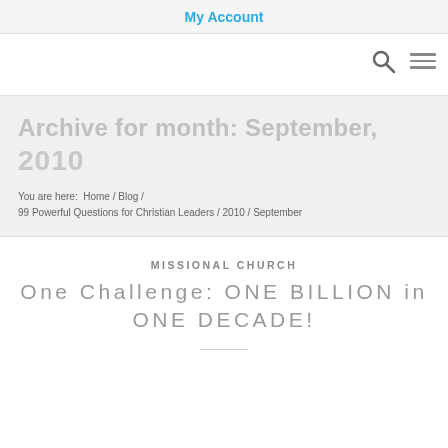My Account
Archive for month: September, 2010
You are here: Home / Blog / 99 Powerful Questions for Christian Leaders / 2010 / September
MISSIONAL CHURCH
One Challenge: ONE BILLION in ONE DECADE!